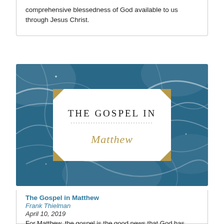comprehensive blessedness of God available to us through Jesus Christ.
[Figure (illustration): Book cover for 'The Gospel in Matthew' — dark blue marble-textured background with a white octagonal panel in the center containing the text 'THE GOSPEL IN' above a dotted line and 'Matthew' in gold italic script. Gold corner accents on the white panel.]
The Gospel in Matthew
Frank Thielman
April 10, 2019
For Matthew, the gospel is the good news that God has inaugurated the final stage of